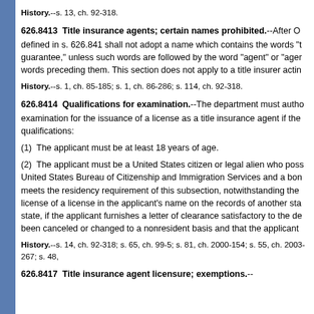History.--s. 13, ch. 92-318.
626.8413  Title insurance agents; certain names prohibited.
After O... defined in s. 626.841 shall not adopt a name which contains the words "t... guarantee," unless such words are followed by the word "agent" or "agen... words preceding them. This section does not apply to a title insurer actin...
History.--s. 1, ch. 85-185; s. 1, ch. 86-286; s. 114, ch. 92-318.
626.8414  Qualifications for examination.
The department must autho... examination for the issuance of a license as a title insurance agent if the... qualifications:
(1)  The applicant must be at least 18 years of age.
(2)  The applicant must be a United States citizen or legal alien who poss... United States Bureau of Citizenship and Immigration Services and a bon... meets the residency requirement of this subsection, notwithstanding the... license of a license in the applicant's name on the records of another sta... state, if the applicant furnishes a letter of clearance satisfactory to the de... been canceled or changed to a nonresident basis and that the applicant
History.--s. 14, ch. 92-318; s. 65, ch. 99-5; s. 81, ch. 2000-154; s. 55, ch. 2003-267; s. 48,
626.8417  Title insurance agent licensure; exemptions.--